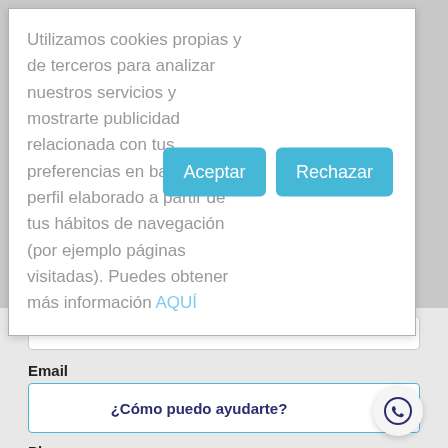Utilizamos cookies propias y de terceros para analizar nuestros servicios y mostrarte publicidad relacionada con tus preferencias en base a un perfil elaborado a partir de tus hábitos de navegación (por ejemplo páginas visitadas). Puedes obtener más información AQUÍ
Aceptar
Rechazar
Email
¿Cómo puedo ayudarte?
Phone